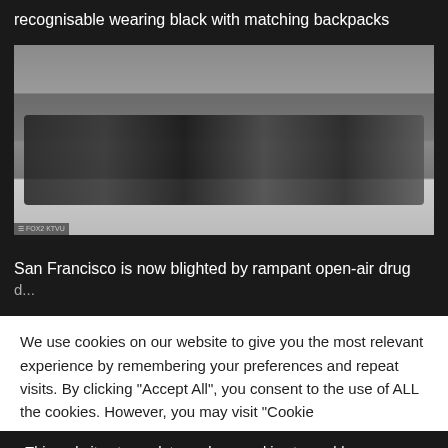recognisable wearing black with matching backpacks
[Figure (photo): People lying on the sidewalk on what appears to be a city street, with a brick wall in the background and a chain-link fence visible on the right side.]
San Francisco is now blighted by rampant open-air drug
We use cookies on our website to give you the most relevant experience by remembering your preferences and repeat visits. By clicking "Accept All", you consent to the use of ALL the cookies. However, you may visit "Cookie
This website stores data such as cookies to enable necessary site functionality, including analytics, targeting, and personalization. By remaining on this website you indicate your consent Cookie Policy